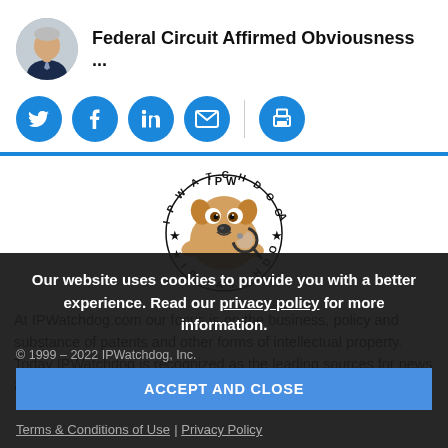Federal Circuit Affirmed Obviousness ...
[Figure (illustration): IPWatchdog logo — cartoon dog with magnifying glass, circular text reading IPWATCHDOG]
At IPWatchdog.com our focus is on the business, policy and substance of patents and other forms of intellectual property. Today IPWatchdog is recognized as the leading sources for news and information in the patent and innovation industries.
Our website uses cookies to provide you with a better experience. Read our privacy policy for more information.
© 1999 – 2022 IPWatchdog, Inc.
Terms & Conditions of Use | Privacy Policy